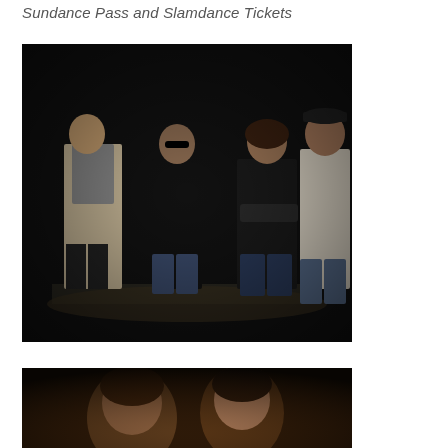Sundance Pass and Slamdance Tickets
[Figure (photo): Four people standing on a stage in a dark venue. From left: a person in a beige cardigan holding a microphone, a person in black clothing, a woman in a black leather jacket with arms crossed, and a man in a cream sweater and jeans leaning against something.]
[Figure (photo): Close-up of two people's faces/upper bodies in a dimly lit venue, appearing to be at a film festival event.]